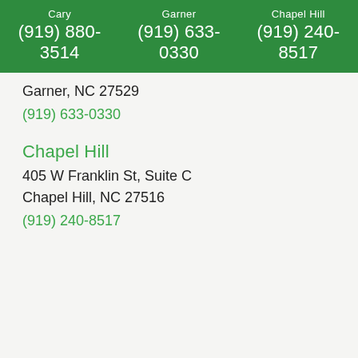Cary (919) 880-3514   Garner (919) 633-0330   Chapel Hill (919) 240-8517
Garner, NC 27529
(919) 633-0330
Chapel Hill
405 W Franklin St, Suite C
Chapel Hill, NC 27516
(919) 240-8517